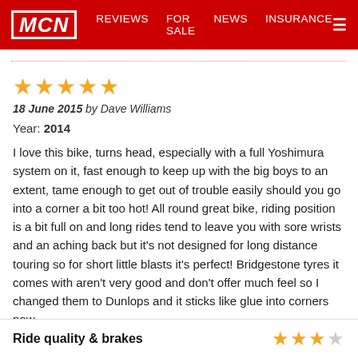MCN  REVIEWS  FOR SALE  NEWS  INSURANCE
18 June 2015 by Dave Williams
Year: 2014
I love this bike, turns head, especially with a full Yoshimura system on it, fast enough to keep up with the big boys to an extent, tame enough to get out of trouble easily should you go into a corner a bit too hot! All round great bike, riding position is a bit full on and long rides tend to leave you with sore wrists and an aching back but it's not designed for long distance touring so for short little blasts it's perfect! Bridgestone tyres it comes with aren't very good and don't offer much feel so I changed them to Dunlops and it sticks like glue into corners now.
Ride quality & brakes